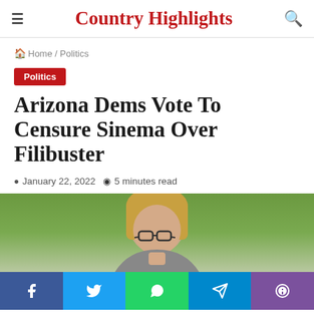Country Highlights
Home / Politics
Politics
Arizona Dems Vote To Censure Sinema Over Filibuster
January 22, 2022  5 minutes read
[Figure (photo): Photo of a woman with glasses and long hair, outdoors with green background]
Social share bar: Facebook, Twitter, WhatsApp, Telegram, Viber